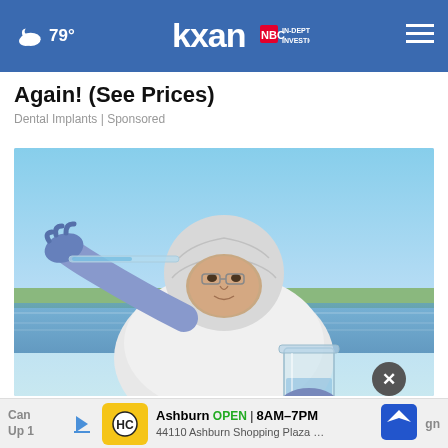79° kxan IN-DEPTH INVESTIGATIVE ☰
Again! (See Prices)
Dental Implants | Sponsored
[Figure (photo): A scientist or researcher in white protective suit and hair covering, wearing blue gloves, holding a glass beaker and a test tube or pipette near a body of water outdoors.]
Can … gn Up 1… Ashburn OPEN 8AM–7PM 44110 Ashburn Shopping Plaza …